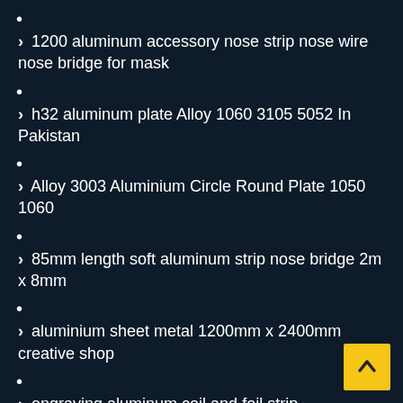•
> 1200 aluminum accessory nose strip nose wire nose bridge for mask
•
> h32 aluminum plate Alloy 1060 3105 5052 In Pakistan
•
> Alloy 3003 Aluminium Circle Round Plate 1050 1060
•
> 85mm length soft aluminum strip nose bridge 2m x 8mm
•
> aluminium sheet metal 1200mm x 2400mm creative shop
•
> engraving aluminum coil and foil strip